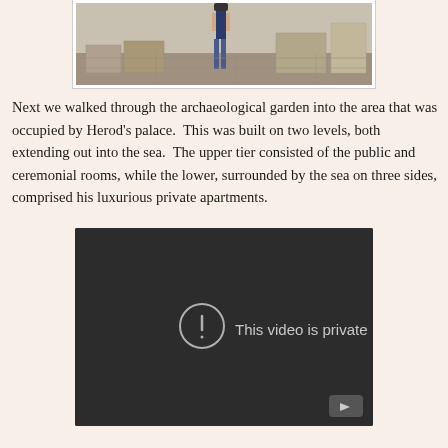[Figure (photo): Partial photo showing a person walking among ancient stone ruins, likely an archaeological site]
Next we walked through the archaeological garden into the area that was occupied by Herod's palace.  This was built on two levels, both extending out into the sea.  The upper tier consisted of the public and ceremonial rooms, while the lower, surrounded by the sea on three sides, comprised his luxurious private apartments.
[Figure (screenshot): Video player screenshot showing 'This video is private' error message with an exclamation mark icon and YouTube logo button in bottom right corner]